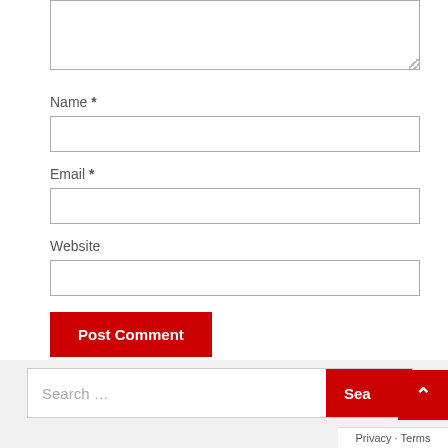[Figure (screenshot): Textarea input box (comment field) with resize handle at bottom right]
Name *
[Figure (screenshot): Name text input field]
Email *
[Figure (screenshot): Email text input field]
Website
[Figure (screenshot): Website text input field]
[Figure (screenshot): Post Comment red button]
[Figure (screenshot): Search bar with Search button and scroll-to-top arrow button, and Privacy - Terms bar at bottom right]